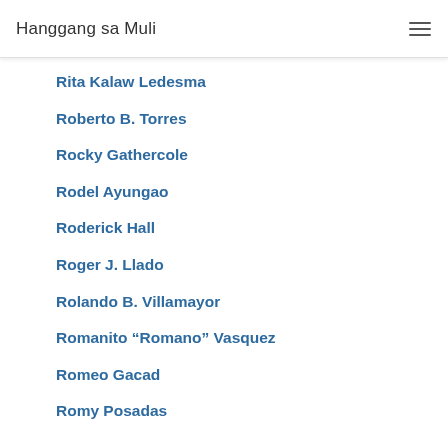Hanggang sa Muli
Rita Kalaw Ledesma
Roberto B. Torres
Rocky Gathercole
Rodel Ayungao
Roderick Hall
Roger J. Llado
Rolando B. Villamayor
Romanito “Romano” Vasquez
Romeo Gacad
Romy Posadas